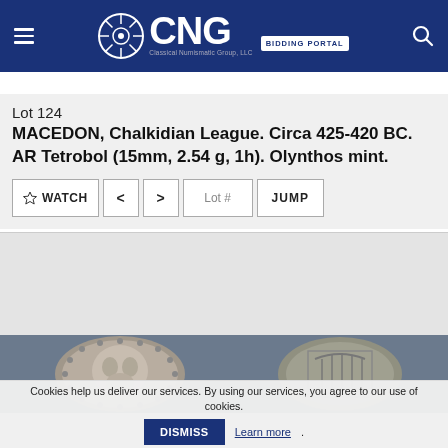CNG — Classical Numismatic Group, LLC — BIDDING PORTAL
Lot 124
MACEDON, Chalkidian League. Circa 425-420 BC. AR Tetrobol (15mm, 2.54 g, 1h). Olynthos mint.
[Figure (photo): Two sides of an ancient silver coin (AR Tetrobol) from Chalkidian League, Olynthos mint, circa 425-420 BC. Left shows obverse with lion head motif, right shows reverse with lyre design in incuse square.]
Cookies help us deliver our services. By using our services, you agree to our use of cookies.